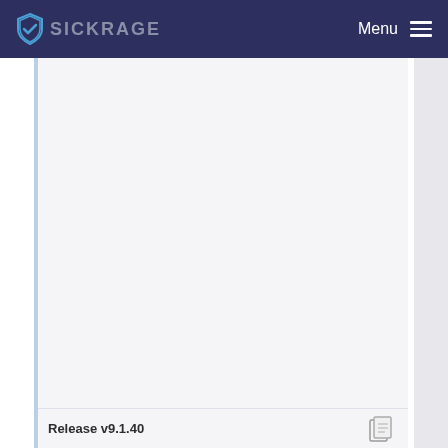SICKRAGE  Menu
[Figure (screenshot): Large empty content area with light grey background, left blue accent border strip]
Release v9.1.40